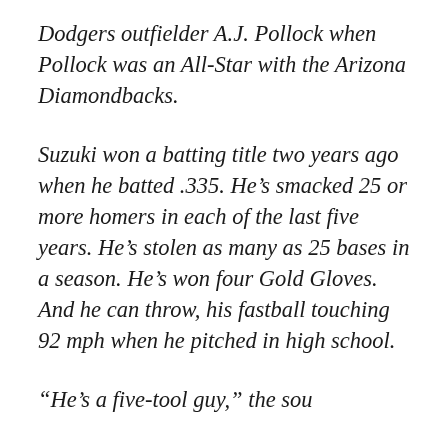Dodgers outfielder A.J. Pollock when Pollock was an All-Star with the Arizona Diamondbacks.
Suzuki won a batting title two years ago when he batted .335. He’s smacked 25 or more homers in each of the last five years. He’s stolen as many as 25 bases in a season. He’s won four Gold Gloves. And he can throw, his fastball touching 92 mph when he pitched in high school.
“He’s a five-tool guy,” the sou…